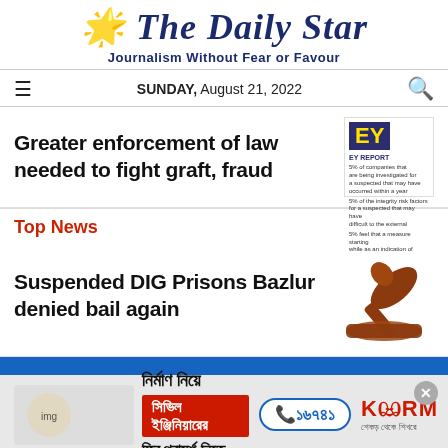The Daily Star
Journalism Without Fear or Favour
SUNDAY, August 21, 2022
Greater enforcement of law needed to fight graft, fraud
Top News
Suspended DIG Prisons Bazlur denied bail again
[Figure (illustration): KSRM advertisement banner in Bengali: Civil engineer consultation ad with phone number 16741]
[Figure (illustration): Judge gavel / hammer illustration for Top News section]